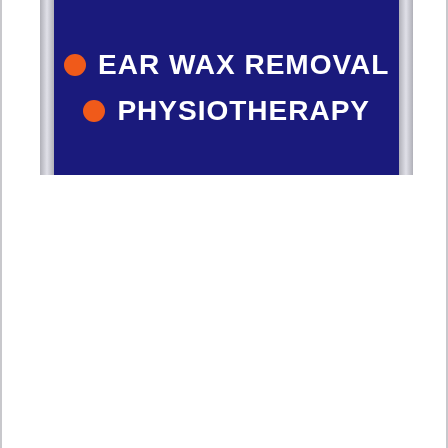[Figure (photo): A dark navy blue sign panel with two service listings, each preceded by an orange bullet dot. Text reads: EAR WAX REMOVAL and PHYSIOTHERAPY in bold white capital letters. The sign is framed by silver metallic strips on either side.]